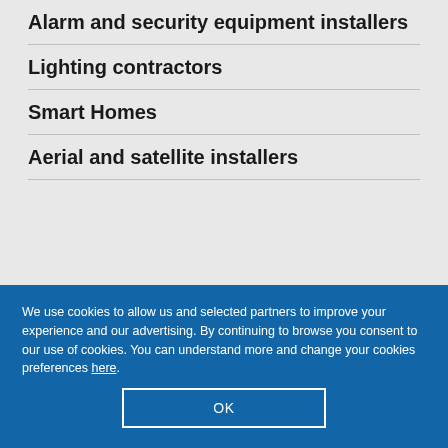Alarm and security equipment installers
Lighting contractors
Smart Homes
Aerial and satellite installers
We use cookies to allow us and selected partners to improve your experience and our advertising. By continuing to browse you consent to our use of cookies. You can understand more and change your cookies preferences here.
OK